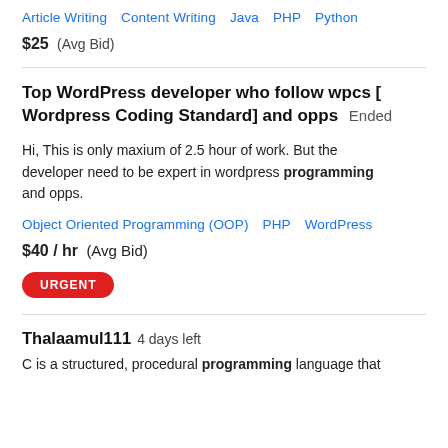Article Writing  Content Writing  Java  PHP  Python
$25  (Avg Bid)
Top WordPress developer who follow wpcs [ Wordpress Coding Standard] and opps  Ended
Hi, This is only maxium of 2.5 hour of work. But the developer need to be expert in wordpress programming and opps.
Object Oriented Programming (OOP)  PHP  WordPress
$40 / hr  (Avg Bid)
URGENT
Thalaamul111  4 days left
C is a structured, procedural programming language that